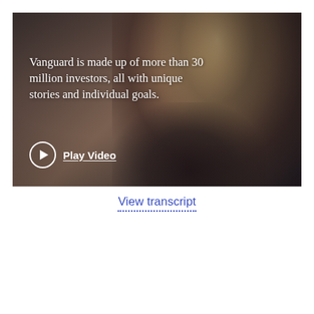[Figure (photo): Video thumbnail showing a woman with long blonde hair looking down, wearing a dark jacket. Dark, muted tones with cinematic style. Overlaid white serif text reads 'Vanguard is made up of more than 30 million investors, all with unique stories and individual goals.' Below the text is a play button (circle with triangle) and bold underlined white text 'Play Video'.]
View transcript